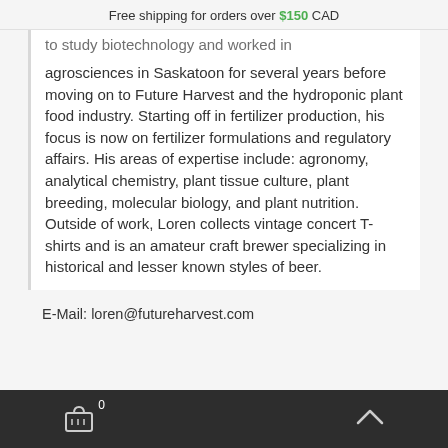Free shipping for orders over $150 CAD
to study biotechnology and worked in agrosciences in Saskatoon for several years before moving on to Future Harvest and the hydroponic plant food industry. Starting off in fertilizer production, his focus is now on fertilizer formulations and regulatory affairs. His areas of expertise include: agronomy, analytical chemistry, plant tissue culture, plant breeding, molecular biology, and plant nutrition. Outside of work, Loren collects vintage concert T-shirts and is an amateur craft brewer specializing in historical and lesser known styles of beer.
E-Mail: loren@futureharvest.com
0 ^